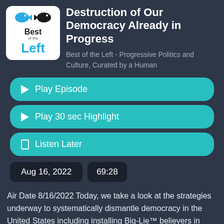[Figure (logo): Best of the Left podcast logo — white rounded square with bird icons, 'Best of the Left' text in black and teal]
Destruction of Our Democracy Already in Progress
Best of the Left - Progressive Politics and Culture, Curated by a Human
▶ Play Episode
▶ Play 30 sec Highlight
🔖 Listen Later
Aug 16, 2022
69:28
Air Date 8/16/2022 Today, we take a look at the strategies underway to systematically dismantle democracy in the United States including installing Big-Lie™ believers in elected and poll-working